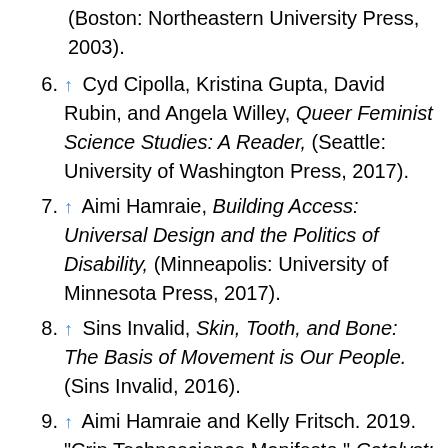(Boston: Northeastern University Press, 2003).
6. ↑ Cyd Cipolla, Kristina Gupta, David Rubin, and Angela Willey, Queer Feminist Science Studies: A Reader, (Seattle: University of Washington Press, 2017).
7. ↑ Aimi Hamraie, Building Access: Universal Design and the Politics of Disability, (Minneapolis: University of Minnesota Press, 2017).
8. ↑ Sins Invalid, Skin, Tooth, and Bone: The Basis of Movement is Our People. (Sins Invalid, 2016).
9. ↑ Aimi Hamraie and Kelly Fritsch. 2019. "Crip Technoscience Manifesto," Catalyst: Feminism, Theory, Technoscience 5, no. 1 (April 2019): 1–34.